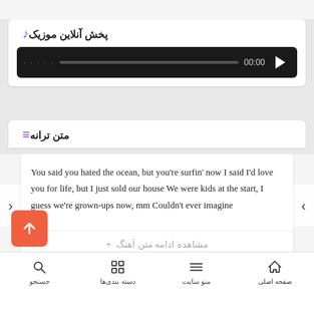پخش آنلاین موزیک
[Figure (screenshot): Audio player bar with time 00:00, progress bar, and play button on dark background]
متن ترانه
You said you hated the ocean, but you're surfin' now I said I'd love you for life, but I just sold our house We were kids at the start, I guess we're grown-ups now, mm Couldn't ever imagine
مشاهده ادامه متن آهنگ +
[Figure (other): Back to top button with upward arrow, orange/red background]
صفحه اصلی | منو سایت | دسته بندی‌ها | جستجو